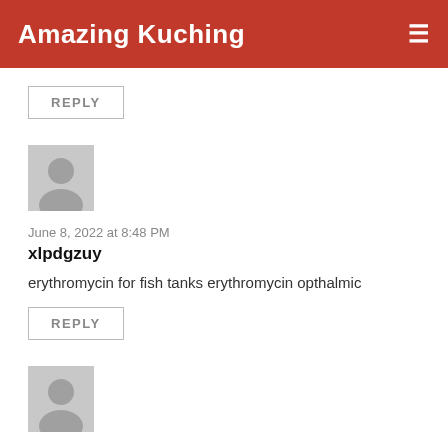Amazing Kuching
REPLY
June 8, 2022 at 8:48 PM
xlpdgzuy
erythromycin for fish tanks erythromycin opthalmic
REPLY
June 9, 2022 at 6:54 AM
Slonseeni